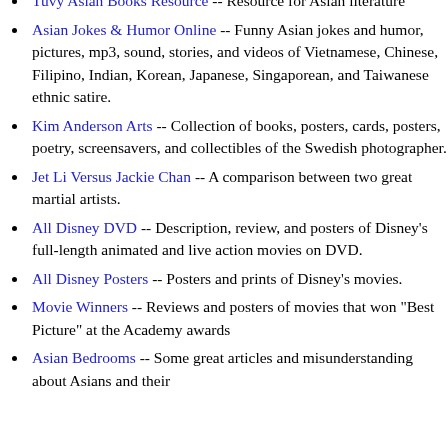Bruce Lee and his philosophy.
Tuvy Asian Books Resource -- Resource for Asian literature
Asian Jokes & Humor Online -- Funny Asian jokes and humor, pictures, mp3, sound, stories, and videos of Vietnamese, Chinese, Filipino, Indian, Korean, Japanese, Singaporean, and Taiwanese ethnic satire.
Kim Anderson Arts -- Collection of books, posters, cards, posters, poetry, screensavers, and collectibles of the Swedish photographer.
Jet Li Versus Jackie Chan -- A comparison between two great martial artists.
All Disney DVD -- Description, review, and posters of Disney's full-length animated and live action movies on DVD.
All Disney Posters -- Posters and prints of Disney's movies.
Movie Winners -- Reviews and posters of movies that won "Best Picture" at the Academy awards
Asian Bedrooms -- Some great articles and misunderstanding about Asians and their